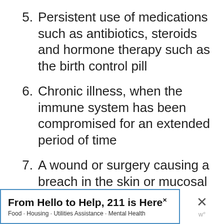5. Persistent use of medications such as antibiotics, steroids and hormone therapy such as the birth control pill
6. Chronic illness, when the immune system has been compromised for an extended period of time
7. A wound or surgery causing a breach in the skin or mucosal surfaces
[Figure (other): Advertisement banner: 'From Hello to Help, 211 is Here' with subtitle 'Food · Housing · Utilities Assistance · Mental Health', with close button and W logo]